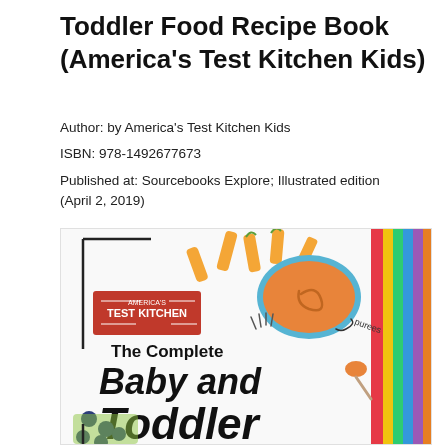Toddler Food Recipe Book (America's Test Kitchen Kids)
Author: by America's Test Kitchen Kids
ISBN: 978-1492677673
Published at: Sourcebooks Explore; Illustrated edition (April 2, 2019)
[Figure (photo): Book cover of 'The Complete Baby and Toddler Food Recipe Book' by America's Test Kitchen Kids, showing carrot sticks, blueberries, a bowl of orange puree, and large bold text.]